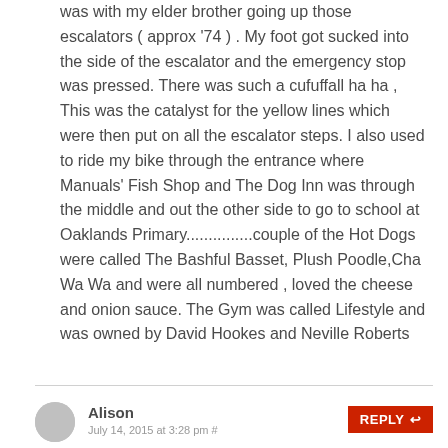was with my elder brother going up those escalators ( approx '74 ) . My foot got sucked into the side of the escalator and the emergency stop was pressed. There was such a cufuffall ha ha , This was the catalyst for the yellow lines which were then put on all the escalator steps. I also used to ride my bike through the entrance where Manuals' Fish Shop and The Dog Inn was through the middle and out the other side to go to school at Oaklands Primary...............couple of the Hot Dogs were called The Bashful Basset, Plush Poodle,Cha Wa Wa and were all numbered , loved the cheese and onion sauce. The Gym was called Lifestyle and was owned by David Hookes and Neville Roberts
Alison July 14, 2015 at 3:28 pm #